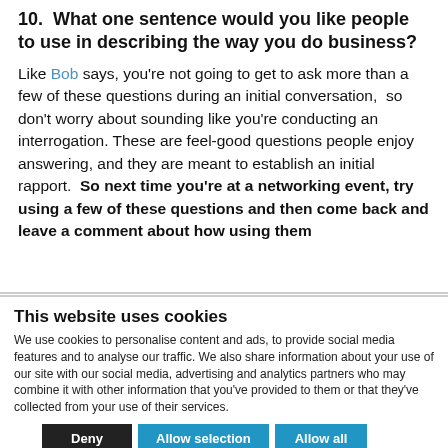10. What one sentence would you like people to use in describing the way you do business?
Like Bob says, you're not going to get to ask more than a few of these questions during an initial conversation, so don't worry about sounding like you're conducting an interrogation. These are feel-good questions people enjoy answering, and they are meant to establish an initial rapport. So next time you're at a networking event, try using a few of these questions and then come back and leave a comment about how using them
This website uses cookies
We use cookies to personalise content and ads, to provide social media features and to analyse our traffic. We also share information about your use of our site with our social media, advertising and analytics partners who may combine it with other information that you've provided to them or that they've collected from your use of their services.
Deny | Allow selection | Allow all
Necessary  Preferences  Statistics  Marketing  Show details